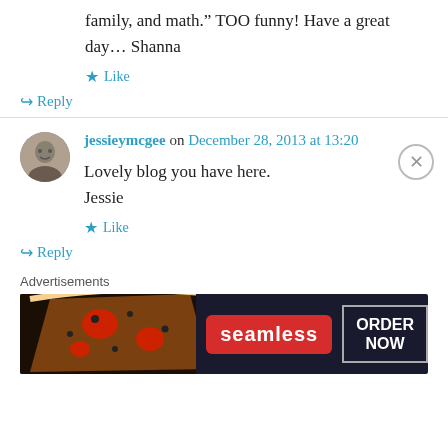family, and math." TOO funny! Have a great day... Shanna
Like
Reply
jessieymcgee on December 28, 2013 at 13:20
Lovely blog you have here.
Jessie
Like
Reply
Advertisements
[Figure (screenshot): Seamless food ordering advertisement banner with pizza image on left, red Seamless logo in center, and 'ORDER NOW' button on right against dark background]